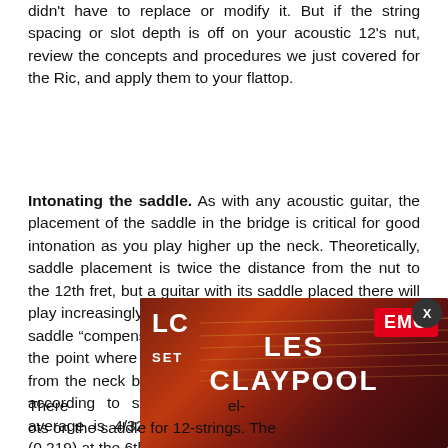didn't have to replace or modify it. But if the string spacing or slot depth is off on your acoustic 12's nut, review the concepts and procedures we just covered for the Ric, and apply them to your flattop.
Intonating the saddle. As with any acoustic guitar, the placement of the saddle in the bridge is critical for good intonation as you play higher up the neck. Theoretically, saddle placement is twice the distance from the nut to the 12th fret, but a guitar with its saddle placed there will play increasingly sharp as you fret in higher positions, so saddle “compensation” is necessary. This means moving the point where the string sits on the saddle back away from the neck by a small amount.This amount can vary according to string gauge and action, but a good average is 4/32" (0.125) at the 1st string and 7/32" (0.219) at the 6th, m
[Figure (photo): Advertisement overlay showing EMG Les Claypool LC Set guitar pickups with image of guitar strings and red/dark background. Features LC SET text on left, LES CLAYPOOL in center, EMG logo in red badge on right. Has a close (X) button.]
There el- ots on the saddle for 12-strings. The